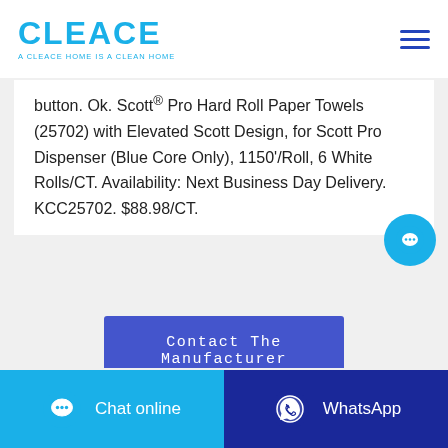CLEACE — A CLEACE HOME IS A CLEAN HOME
button. Ok. Scott® Pro Hard Roll Paper Towels (25702) with Elevated Scott Design, for Scott Pro Dispenser (Blue Core Only), 1150'/Roll, 6 White Rolls/CT. Availability: Next Business Day Delivery. KCC25702. $88.98/CT.
Contact The Manufacturer
WhatsApp
Chat online  WhatsApp